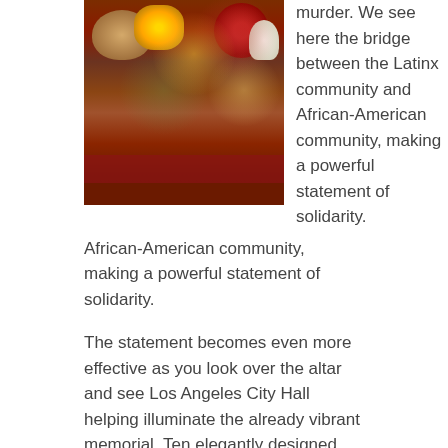[Figure (photo): A colorful Día de los Muertos altar/ofrenda with food, flowers, skulls, and decorations on a red table.]
murder. We see here the bridge between the Latinx community and African-American community, making a powerful statement of solidarity.
The statement becomes even more effective as you look over the altar and see Los Angeles City Hall helping illuminate the already vibrant memorial. Ten elegantly designed calaveras, five to each side of the altar, were displayed to illustrate another important piece of the Día de los Muertos' tradition. The calaveras have come to symbolize the revival of an individual into the next stage of life. One calavera, in particular, grasped my attention almost immediately. It was one representing Brown Pride, which was initiated during the Chicano movement of the 1960s; with this skull we can see the connection between contemporary and traditional empowerment through the Latinx culture—contemporary in that it reflects a recent social movement for Chicanx pride and power, and traditional in that it reflects a long-established spiritualistic custom to convey the unity between the